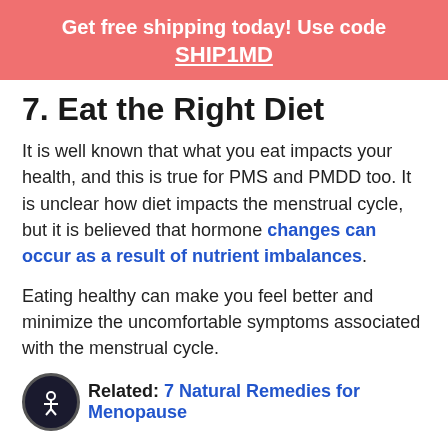Get free shipping today! Use code SHIP1MD
7. Eat the Right Diet
It is well known that what you eat impacts your health, and this is true for PMS and PMDD too. It is unclear how diet impacts the menstrual cycle, but it is believed that hormone changes can occur as a result of nutrient imbalances.
Eating healthy can make you feel better and minimize the uncomfortable symptoms associated with the menstrual cycle.
Related: 7 Natural Remedies for Menopause